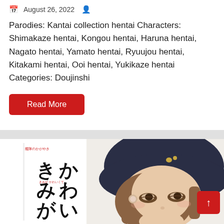August 26, 2022
Parodies: Kantai collection hentai Characters: Shimakaze hentai, Kongou hentai, Haruna hentai, Nagato hentai, Yamato hentai, Ryuujou hentai, Kitakami hentai, Ooi hentai, Yukikaze hentai Categories: Doujinshi
Read More
[Figure (illustration): Manga/doujinshi cover illustration showing an anime-style girl with brown hair wearing a dark beret/hat, with Japanese text きみがかわい on the left side of the cover. A scroll-to-top red button with an upward arrow is visible in the bottom right corner.]